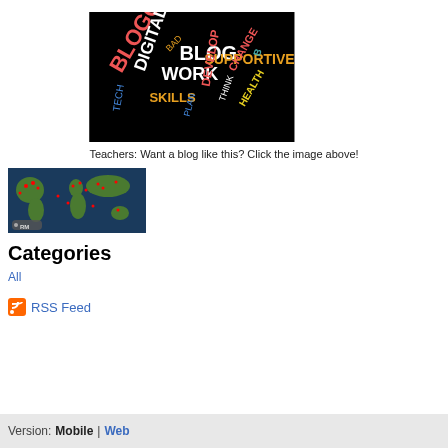[Figure (illustration): Word cloud on black background with words including BLOGGING, BLOG, DIGITAL, WORK, SUPPORTIVE, SKILLS, DEVELOP, CHANGE and others in various colors (white, orange, blue, yellow)]
Teachers: Want a blog like this? Click the image above!
[Figure (map): World map with red dots indicating visitor locations, with RM watermark in bottom left corner]
Categories
All
RSS Feed
Version:  Mobile  |  Web